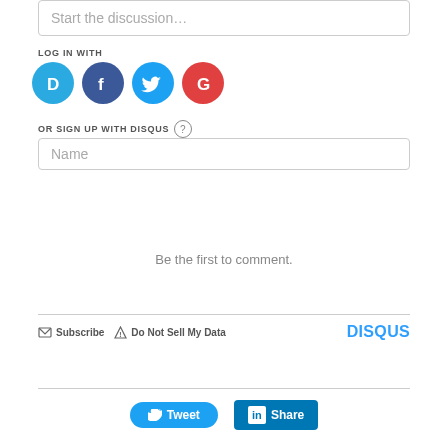Start the discussion…
LOG IN WITH
[Figure (other): Social login icons: Disqus (D, blue), Facebook (f, dark blue), Twitter (bird, light blue), Google (G, red)]
OR SIGN UP WITH DISQUS ?
Name
Be the first to comment.
Subscribe  Do Not Sell My Data  DISQUS
[Figure (other): Tweet and Share buttons at the bottom]
Tweet  Share